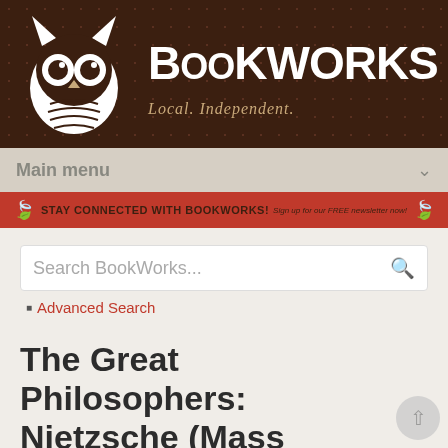[Figure (logo): BookWorks bookstore logo with white owl on dark brown patterned background, with text BOOKWORKS and tagline Local. Independent.]
Main menu
STAY CONNECTED WITH BOOKWORKS! Sign up for our FREE newsletter now!
Search BookWorks...
Advanced Search
The Great Philosophers: Nietzsche (Mass Market)